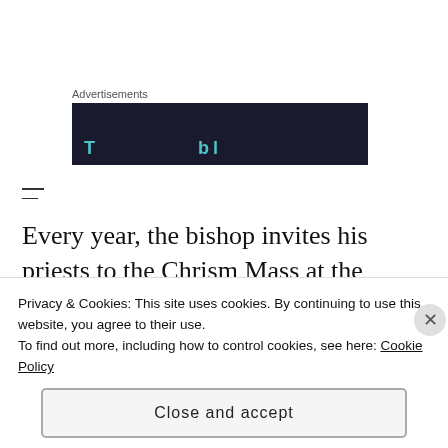Advertisements
[Figure (screenshot): Dark navy advertisement banner with teal/cyan colored partially visible text]
—
Every year, the bishop invites his priests to the Chrism Mass at the cathedral. For three years running now, though, I have not been invited. I am
Privacy & Cookies: This site uses cookies. By continuing to use this website, you agree to their use.
To find out more, including how to control cookies, see here: Cookie Policy
Close and accept